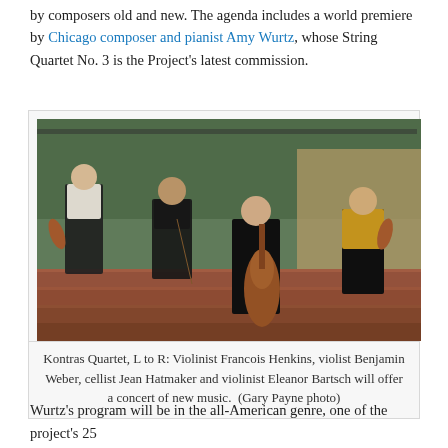by composers old and new. The agenda includes a world premiere by Chicago composer and pianist Amy Wurtz, whose String Quartet No. 3 is the Project's latest commission.
[Figure (photo): Four musicians of the Kontras Quartet seated on brick steps outdoors. Left to right: a young man in a white shirt and black vest holding a violin, a man in a black vest holding a violin bow, a woman in a black dress holding a large cello, and a woman in a yellow top and black skirt holding a violin. Green foliage and iron railing in background.]
Kontras Quartet, L to R: Violinist Francois Henkins, violist Benjamin Weber, cellist Jean Hatmaker and violinist Eleanor Bartsch will offer a concert of new music.  (Gary Payne photo)
Wurtz's program will be in the all-American genre, one of the project's 25